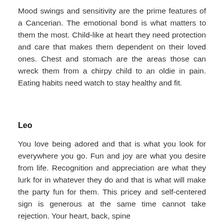Mood swings and sensitivity are the prime features of a Cancerian. The emotional bond is what matters to them the most. Child-like at heart they need protection and care that makes them dependent on their loved ones. Chest and stomach are the areas those can wreck them from a chirpy child to an oldie in pain. Eating habits need watch to stay healthy and fit.
Leo
You love being adored and that is what you look for everywhere you go. Fun and joy are what you desire from life. Recognition and appreciation are what they lurk for in whatever they do and that is what will make the party fun for them. This pricey and self-centered sign is generous at the same time cannot take rejection. Your heart, back, spine